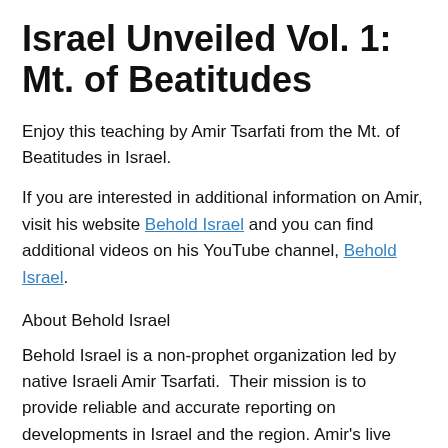Israel Unveiled Vol. 1: Mt. of Beatitudes
Enjoy this teaching by Amir Tsarfati from the Mt. of Beatitudes in Israel.
If you are interested in additional information on Amir, visit his website Behold Israel and you can find additional videos on his YouTube channel, Behold Israel.
About Behold Israel
Behold Israel is a non-prophet organization led by native Israeli Amir Tsarfati.  Their mission is to provide reliable and accurate reporting on developments in Israel and the region. Amir's live updates and teachings, based on God's